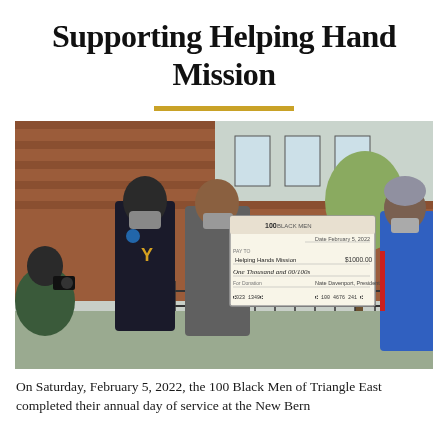Supporting Helping Hand Mission
[Figure (photo): Three people standing outdoors in front of a brick building. Two people in the center hold a large ceremonial check made out to Helping Hands Mission for One Thousand dollars, dated February 5, 2022. Person on left wears a black hoodie and mask; center person wears a grey polo; person on right wears a blue jacket and grey beanie. A photographer is partially visible on the left.]
On Saturday, February 5, 2022, the 100 Black Men of Triangle East completed their annual day of service at the New Bern